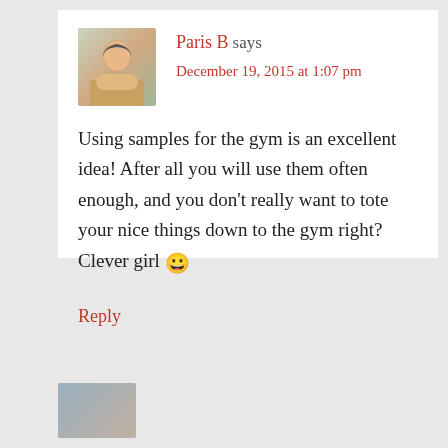Paris B says
December 19, 2015 at 1:07 pm
Using samples for the gym is an excellent idea! After all you will use them often enough, and you don't really want to tote your nice things down to the gym right? Clever girl 😀
Reply